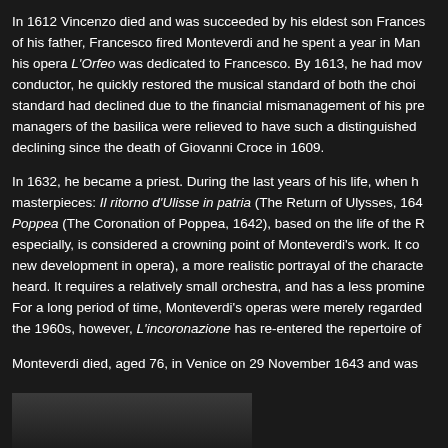In 1612 Vincenzo died and was succeeded by his eldest son Frances of his father, Francesco fired Monteverdi and he spent a year in Man his opera L'Orfeo was dedicated to Francesco. By 1613, he had mov conductor, he quickly restored the musical standard of both the choi standard had declined due to the financial mismanagement of his pre managers of the basilica were relieved to have such a distinguished declining since the death of Giovanni Croce in 1609.
In 1632, he became a priest. During the last years of his life, when h masterpieces: Il ritorno d'Ulisse in patria (The Return of Ulysses, 164 Poppea (The Coronation of Poppea, 1642), based on the life of the R especially, is considered a crowning point of Monteverdi's work. It co new development in opera), a more realistic portrayal of the characte heard. It requires a relatively small orchestra, and has a less promine For a long period of time, Monteverdi's operas were merely regarded the 1960s, however, L'incoronazione has re-entered the repertoire of
Monteverdi died, aged 76, in Venice on 29 November 1643 and was
[Figure (photo): Partial view of a portrait or painting, appears dark/shadowed]